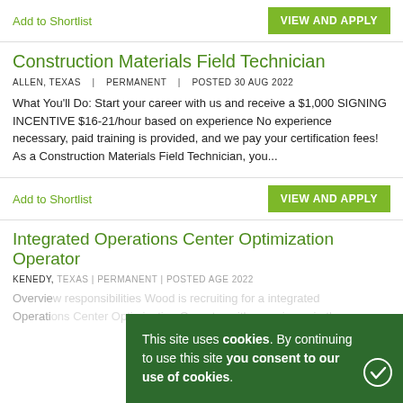Add to Shortlist
VIEW AND APPLY
Construction Materials Field Technician
ALLEN, TEXAS | PERMANENT | POSTED 30 AUG 2022
What You'll Do: Start your career with us and receive a $1,000 SIGNING INCENTIVE $16-21/hour based on experience No experience necessary, paid training is provided, and we pay your certification fees! As a Construction Materials Field Technician, you...
Add to Shortlist
VIEW AND APPLY
Integrated Operations Center Optimization Operator
KENEDY, TEXAS | PERMANENT | POSTED AGE 2022
Overview responsibilities Wood is recruiting for a integrated Operations Center Optimization Operator with experience in the...
This site uses cookies. By continuing to use this site you consent to our use of cookies.